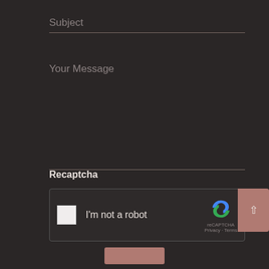Subject
Your Message
Recaptcha
[Figure (screenshot): reCAPTCHA widget with checkbox labeled 'I'm not a robot', reCAPTCHA logo and branding, Privacy and Terms links]
[Figure (other): Scroll-to-top button with upward arrow, pinkish-brown color]